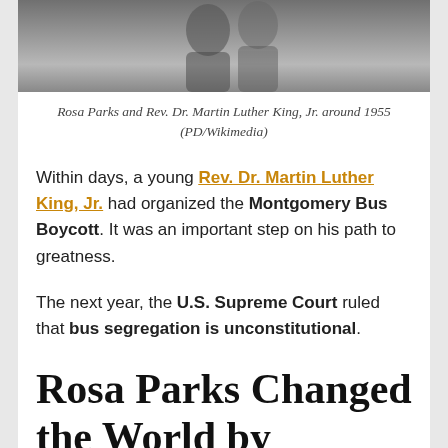[Figure (photo): Black and white photograph of Rosa Parks and Rev. Dr. Martin Luther King, Jr. around 1955]
Rosa Parks and Rev. Dr. Martin Luther King, Jr. around 1955 (PD/Wikimedia)
Within days, a young Rev. Dr. Martin Luther King, Jr. had organized the Montgomery Bus Boycott. It was an important step on his path to greatness.
The next year, the U.S. Supreme Court ruled that bus segregation is unconstitutional.
Rosa Parks Changed the World by